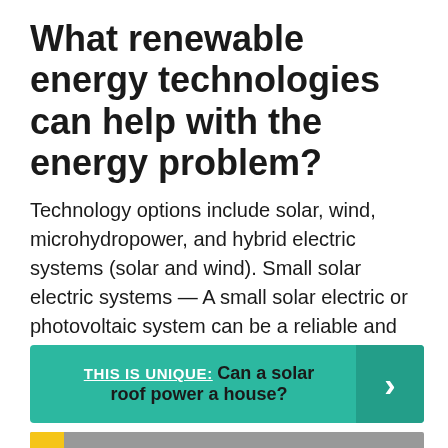What renewable energy technologies can help with the energy problem?
Technology options include solar, wind, microhydropower, and hybrid electric systems (solar and wind). Small solar electric systems — A small solar electric or photovoltaic system can be a reliable and pollution-free producer of electricity for your home or office.
THIS IS UNIQUE: Can a solar roof power a house?
[Figure (photo): Partial image strip visible at the bottom of the page, showing a sky/solar panel scene with a yellow National Geographic logo corner.]